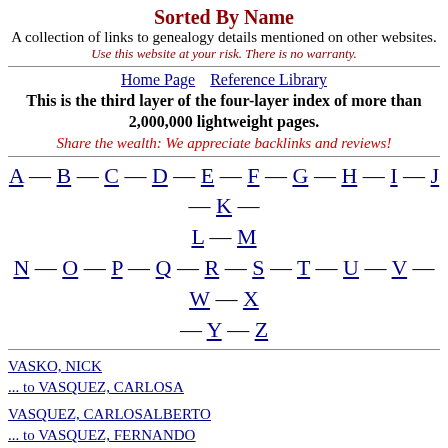Sorted By Name
A collection of links to genealogy details mentioned on other websites.
Use this website at your risk. There is no warranty.
Home Page    Reference Library
This is the third layer of the four-layer index of more than 2,000,000 lightweight pages.
Share the wealth: We appreciate backlinks and reviews!
A — B — C — D — E — F — G — H — I — J — K — L — M — N — O — P — Q — R — S — T — U — V — W — X — Y — Z
VASKO, NICK
... to VASQUEZ, CARLOSA
VASQUEZ, CARLOSALBERTO
... to VASQUEZ, FERNANDO